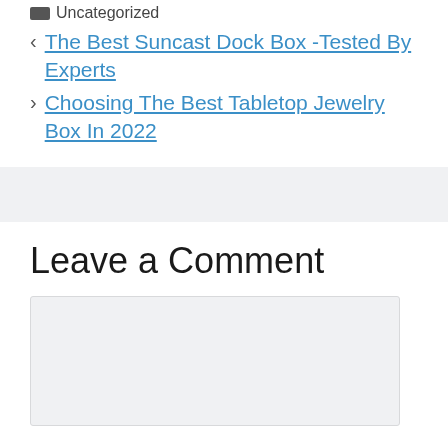Uncategorized
< The Best Suncast Dock Box -Tested By Experts
> Choosing The Best Tabletop Jewelry Box In 2022
Leave a Comment